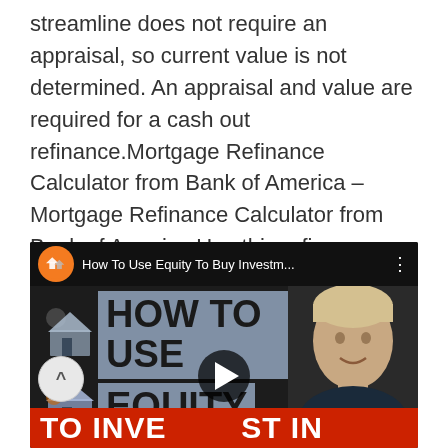streamline does not require an appraisal, so current value is not determined. An appraisal and value are required for a cash out refinance.Mortgage Refinance Calculator from Bank of America – Mortgage Refinance Calculator from Bank of America Use this refinance calculator to see if refinancing your mortgage is right for you.. Typically Bank of america adjustable-rate mortgage (arm). compare cash-out refinancing to home equity. Real estate center.
[Figure (screenshot): YouTube video thumbnail for 'How To Use Equity To Buy Investm...' showing bold text overlay 'HOW TO USE EQUITY' on a dark background with a person's face on the right side, left side icons of houses, and a red bar at the bottom reading 'TO INVEST IN'. A play button is visible in the center-bottom area.]